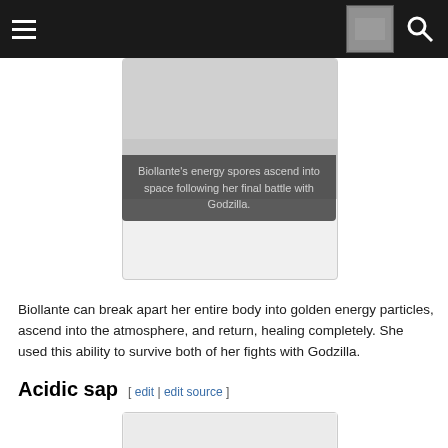[ hamburger menu | avatar image | search icon ]
[Figure (photo): Image box at top center showing Biollante's energy spores scene, with dark overlay caption below]
Biollante’s energy spores ascend into space following her final battle with Godzilla.
Biollante can break apart her entire body into golden energy particles, ascend into the atmosphere, and return, healing completely. She used this ability to survive both of her fights with Godzilla.
Acidic sap
[Figure (photo): Image box at bottom center, partially visible, showing content related to Acidic sap section]